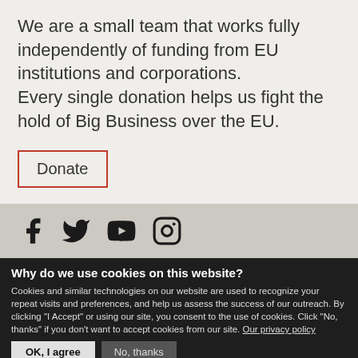We are a small team that works fully independently of funding from EU institutions and corporations. Every single donation helps us fight the hold of Big Business over the EU.
Donate
[Figure (other): Social media icons: Facebook, Twitter, YouTube, Instagram]
Why do we use cookies on this website?
Cookies and similar technologies on our website are used to recognize your repeat visits and preferences, and help us assess the success of our outreach. By clicking "I Accept" or using our site, you consent to the use of cookies. Click "No, thanks" if you don't want to accept cookies from our site. Our privacy policy
OK, I agree  No, thanks